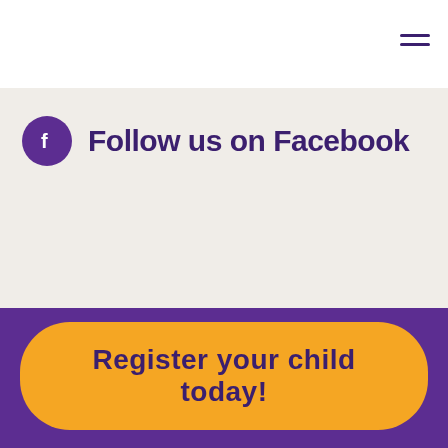[Figure (other): Hamburger menu icon (three horizontal lines) in dark purple, top right corner of navigation bar]
Follow us on Facebook
[Figure (illustration): Purple bowl/banner shape forming the lower portion of the page background]
Register your child today!